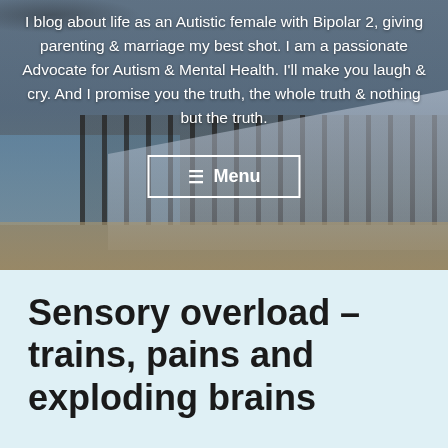[Figure (photo): Hero header image of a coastal pier (likely Brighton Pier) with beach and sea in background, overlaid with white text describing the blog and a Menu button. Dark sky with birds visible at top.]
I blog about life as an Autistic female with Bipolar 2, giving parenting & marriage my best shot. I am a passionate Advocate for Autism & Mental Health. I'll make you laugh & cry. And I promise you the truth, the whole truth & nothing but the truth.
Sensory overload – trains, pains and exploding brains